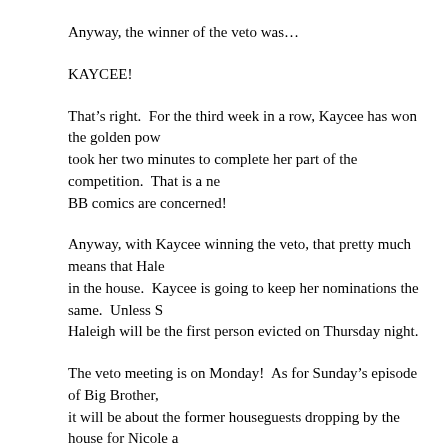Anyway, the winner of the veto was…
KAYCEE!
That’s right.  For the third week in a row, Kaycee has won the golden pow... took her two minutes to complete her part of the competition.  That is a ne... BB comics are concerned!
Anyway, with Kaycee winning the veto, that pretty much means that Hale... in the house.  Kaycee is going to keep her nominations the same.  Unless S... Haleigh will be the first person evicted on Thursday night.
The veto meeting is on Monday!  As for Sunday’s episode of Big Brother, it will be about the former houseguests dropping by the house for Nicole a... of course, we’ll get to see how Haleigh reacted when her face appeared on... fourth time.
That’s it for now because it’s really, really late.
Lisa Marie